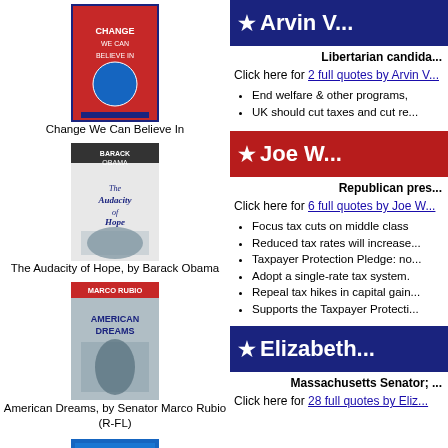[Figure (photo): Book cover: Change We Can Believe In]
Change We Can Believe In
[Figure (photo): Book cover: The Audacity of Hope, by Barack Obama]
The Audacity of Hope, by Barack Obama
[Figure (photo): Book cover: American Dreams, by Senator Marco Rubio (R-FL)]
American Dreams, by Senator Marco Rubio (R-FL)
[Figure (photo): Book cover: Jeb Bush: Aggressive Conservatism in Florida, by Robert E. Crew]
Jeb Bush: Aggressive Conservatism in Florida, by Robert E. Crew
[Figure (photo): Book cover: 2020 Vice Presidential prospects]
2020 Vice Presidential prospects
★ Arvin V...
Libertarian candida...
Click here for 2 full quotes by Arvin V...
End welfare & other programs,
UK should cut taxes and cut re...
★ Joe W...
Republican pres...
Click here for 6 full quotes by Joe W...
Focus tax cuts on middle class
Reduced tax rates will increase...
Taxpayer Protection Pledge: no...
Adopt a single-rate tax system.
Repeal tax hikes in capital gain...
Supports the Taxpayer Protecti...
★ Elizabeth...
Massachusetts Senator; ...
Click here for 28 full quotes by Eliz...